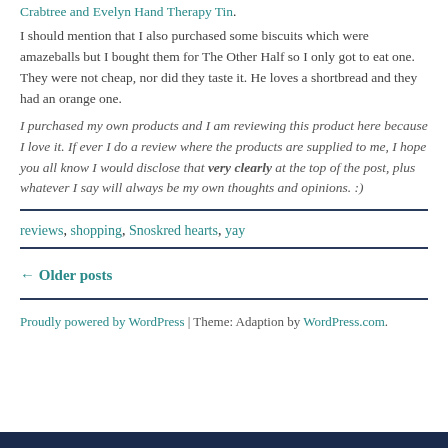Crabtree and Evelyn Hand Therapy Tin.
I should mention that I also purchased some biscuits which were amazeballs but I bought them for The Other Half so I only got to eat one. They were not cheap, nor did they taste it. He loves a shortbread and they had an orange one.
I purchased my own products and I am reviewing this product here because I love it. If ever I do a review where the products are supplied to me, I hope you all know I would disclose that very clearly at the top of the post, plus whatever I say will always be my own thoughts and opinions. :)
reviews, shopping, Snoskred hearts, yay
← Older posts
Proudly powered by WordPress | Theme: Adaption by WordPress.com.